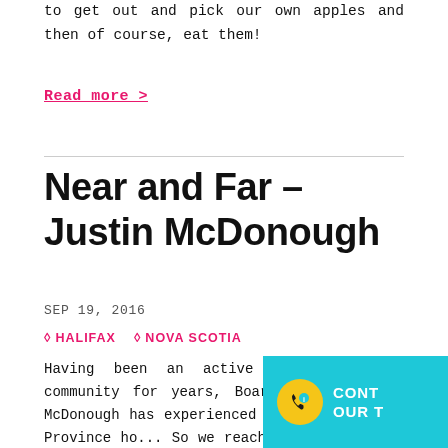to get out and pick our own apples and then of course, eat them!
Read more >
Near and Far – Justin McDonough
SEP 19, 2016
HALIFAX   NOVA SCOTIA
Having been an active member of the community for years, Board member Justin McDonough has experienced much of what our Province ho... So we reached out to him to share his div... things to see and do in Nova Scotia. Chec... Justin's top picks!
[Figure (other): Cyan call-to-action button overlay in bottom-right corner with phone icon and text 'CONT... OUR T...']